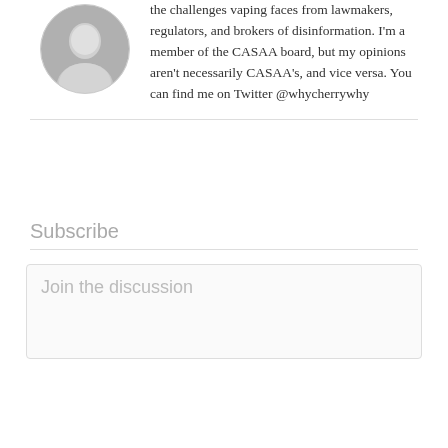[Figure (photo): Circular cropped headshot photo of a person in black and white]
the challenges vaping faces from lawmakers, regulators, and brokers of disinformation. I'm a member of the CASAA board, but my opinions aren't necessarily CASAA's, and vice versa. You can find me on Twitter @whycherrywhy
Subscribe
Join the discussion